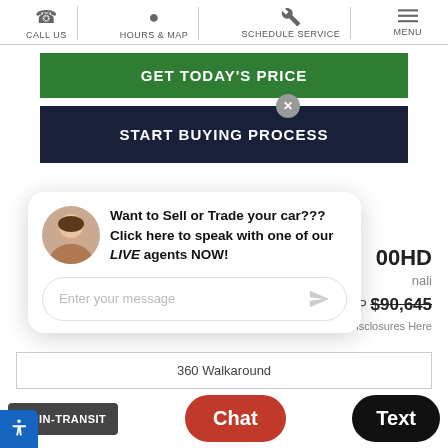CALL US | HOURS & MAP | SCHEDULE SERVICE | MENU
GET TODAY'S PRICE
START BUYING PROCESS
[Figure (screenshot): Chat popup with avatar of a woman, message: Want to Sell or Trade your car??? Click here to speak with one of our LIVE agents NOW!, and a message input field.]
00HD
nali
MSRP $90,645
e Important Disclosures Here
360 Walkaround
IN-TRANSIT
Chat
Text